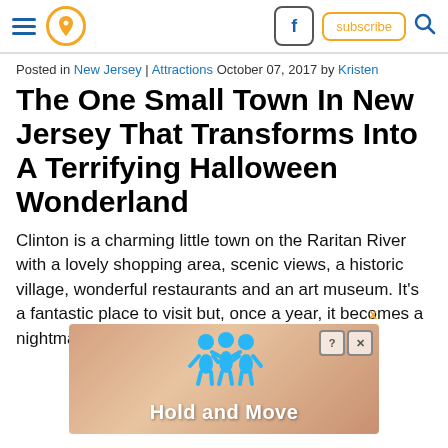Navigation header with hamburger menu, location icon, Facebook button, subscribe button, search icon
Posted in New Jersey | Attractions October 07, 2017 by Kristen
The One Small Town In New Jersey That Transforms Into A Terrifying Halloween Wonderland
Clinton is a charming little town on the Raritan River with a lovely shopping area, scenic views, a historic village, wonderful restaurants and an art museum. It's a fantastic place to visit but, once a year, it becomes a nightmare.
[Figure (screenshot): Advertisement banner showing 'Hold and Move' app with cartoon figures and diagonal wooden plank background]